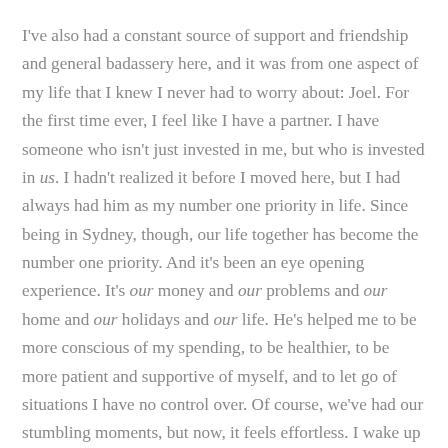I've also had a constant source of support and friendship and general badassery here, and it was from one aspect of my life that I knew I never had to worry about: Joel. For the first time ever, I feel like I have a partner. I have someone who isn't just invested in me, but who is invested in us. I hadn't realized it before I moved here, but I had always had him as my number one priority in life. Since being in Sydney, though, our life together has become the number one priority. And it's been an eye opening experience. It's our money and our problems and our home and our holidays and our life. He's helped me to be more conscious of my spending, to be healthier, to be more patient and supportive of myself, and to let go of situations I have no control over. Of course, we've had our stumbling moments, but now, it feels effortless. I wake up every morning feel grateful that the universe knocked us together.